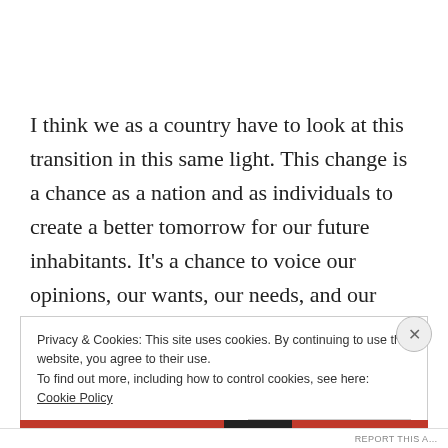I think we as a country have to look at this transition in this same light. This change is a chance as a nation and as individuals to create a better tomorrow for our future inhabitants. It’s a chance to voice our opinions, our wants, our needs, and our desires to positively move ourselves and our country in the right direction.
Privacy & Cookies: This site uses cookies. By continuing to use this website, you agree to their use.
To find out more, including how to control cookies, see here: Cookie Policy
Close and accept